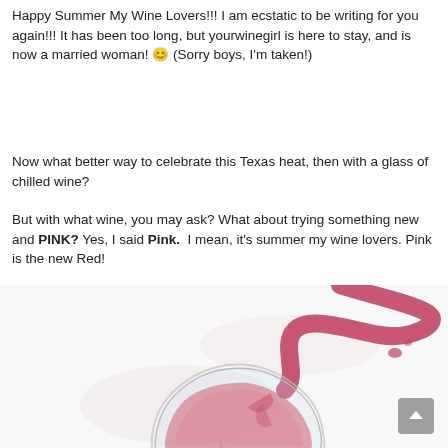Happy Summer My Wine Lovers!!! I am ecstatic to be writing for you again!!! It has been too long, but yourwinegirl is here to stay, and is now a married woman! 😊 (Sorry boys, I'm taken!)
Now what better way to celebrate this Texas heat, then with a glass of chilled wine?
But with what wine, you may ask? What about trying something new and PINK? Yes, I said Pink.  I mean, it's summer my wine lovers. Pink is the new Red!
[Figure (photo): A wine glass tilted at an angle with pink/rosé wine splashing dramatically out of it against a white background]